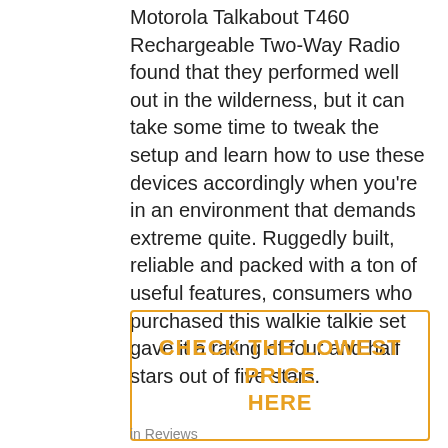Motorola Talkabout T460 Rechargeable Two-Way Radio found that they performed well out in the wilderness, but it can take some time to tweak the setup and learn how to use these devices accordingly when you're in an environment that demands extreme quite. Ruggedly built, reliable and packed with a ton of useful features, consumers who purchased this walkie talkie set gave it a rating of four and half stars out of five stars.
CHECK THE LOWEST PRICE HERE
in Reviews